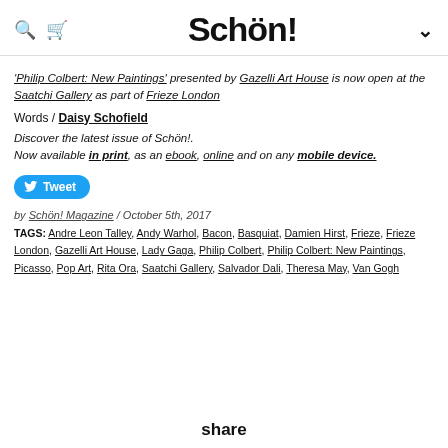Schön!
'Philip Colbert: New Paintings' presented by Gazelli Art House is now open at the Saatchi Gallery as part of Frieze London
Words / Daisy Schofield
Discover the latest issue of Schön!. Now available in print, as an ebook, online and on any mobile device.
[Figure (other): Tweet button with Twitter bird icon]
by Schön! Magazine / October 5th, 2017
TAGS: Andre Leon Talley, Andy Warhol, Bacon, Basquiat, Damien Hirst, Frieze, Frieze London, Gazelli Art House, Lady Gaga, Philip Colbert, Philip Colbert: New Paintings, Picasso, Pop Art, Rita Ora, Saatchi Gallery, Salvador Dali, Theresa May, Van Gogh
share